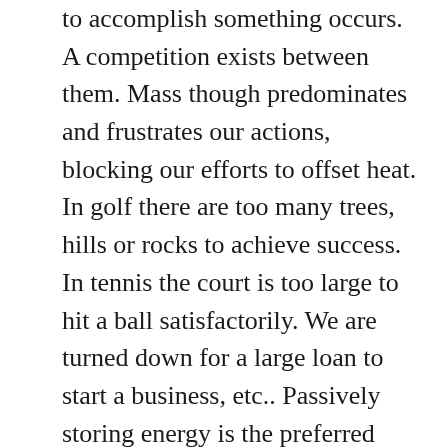to accomplish something occurs. A competition exists between them. Mass though predominates and frustrates our actions, blocking our efforts to offset heat. In golf there are too many trees, hills or rocks to achieve success. In tennis the court is too large to hit a ball satisfactorily. We are turned down for a large loan to start a business, etc.. Passively storing energy is the preferred alternative. This can also be stated the other way around, namely that our actions are inferior to the mass of images. Imagine one ship colliding with another at sea. Occasionally, we may find some success at some endeavor, e.g. we may be able to hit a golf ball up a steep hill and have it go in the hole. But in the end frustration and